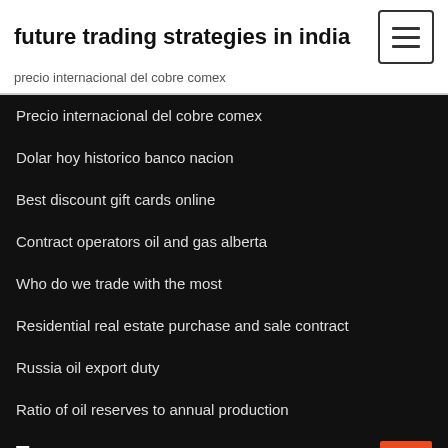future trading strategies in india
precio internacional del cobre comex
Precio internacional del cobre comex
Dolar hoy historico banco nacion
Best discount gift cards online
Contract operators oil and gas alberta
Who do we trade with the most
Residential real estate purchase and sale contract
Russia oil export duty
Ratio of oil reserves to annual production
Tags